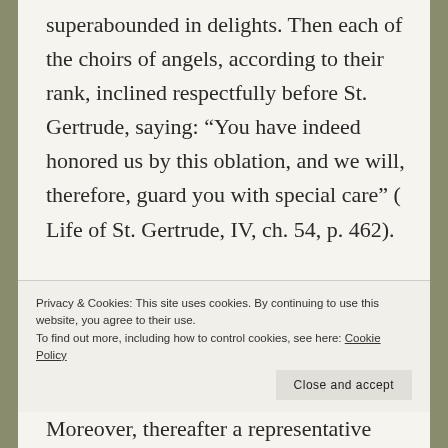superabounded in delights. Then each of the choirs of angels, according to their rank, inclined respectfully before St. Gertrude, saying: “You have indeed honored us by this oblation, and we will, therefore, guard you with special care” ( Life of St. Gertrude, IV, ch. 54, p. 462).
Moreover, thereafter a representative
Privacy & Cookies: This site uses cookies. By continuing to use this website, you agree to their use.
To find out more, including how to control cookies, see here: Cookie Policy
Close and accept